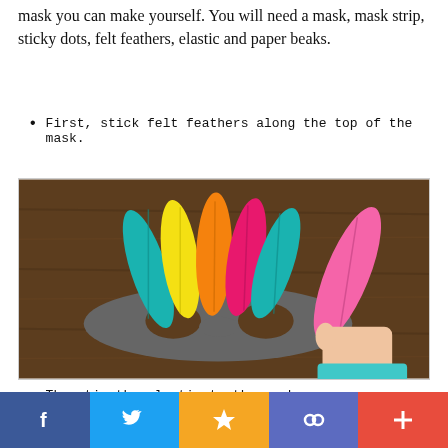mask you can make yourself. You will need a mask, mask strip, sticky dots, felt feathers, elastic and paper beaks.
First, stick felt feathers along the top of the mask.
[Figure (photo): A grey felt masquerade mask on a wooden table with colorful felt feathers (teal, yellow, orange, pink, teal, pink) being placed on top. A child's hand holds a large pink feather on the right side.]
Then tie the elastic to the mask.
[Figure (photo): Partial view of colorful felt feathers (yellow, orange, pink, teal) laid out on a wooden surface, bottom portion of image.]
f  [twitter bird]  ★  [link icon]  +